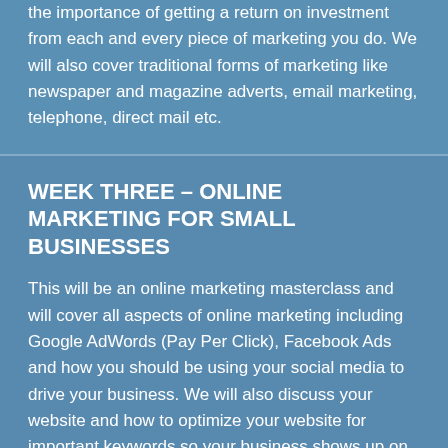the importance of getting a return on investment from each and every piece of marketing you do. We will also cover traditional forms of marketing like newspaper and magazine adverts, email marketing, telephone, direct mail etc.
WEEK THREE – ONLINE MARKETING FOR SMALL BUSINESSES
This will be an online marketing masterclass and will cover all aspects of online marketing including Google AdWords (Pay Per Click), Facebook Ads and how you should be using your social media to drive your business. We will also discuss your website and how to optimize your website for important keywords so your business shows up on organics web searches. There is a vast amount of material this week so we will definitely-take more than an hour.